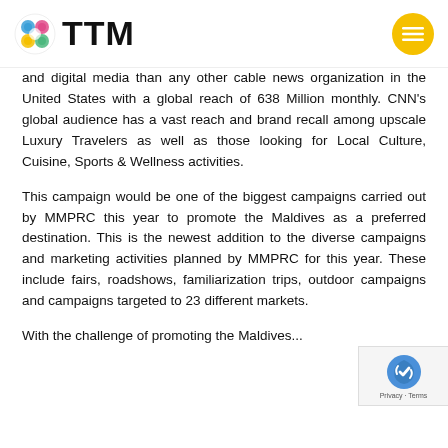TTM
and digital media than any other cable news organization in the United States with a global reach of 638 Million monthly. CNN's global audience has a vast reach and brand recall among upscale Luxury Travelers as well as those looking for Local Culture, Cuisine, Sports & Wellness activities.
This campaign would be one of the biggest campaigns carried out by MMPRC this year to promote the Maldives as a preferred destination. This is the newest addition to the diverse campaigns and marketing activities planned by MMPRC for this year. These include fairs, roadshows, familiarization trips, outdoor campaigns and campaigns targeted to 23 different markets.
With the challenge of promoting the Maldives...